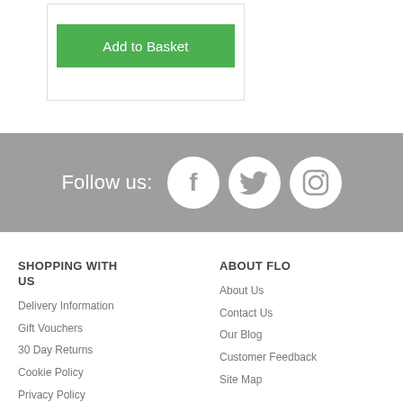Add to Basket
[Figure (infographic): Social media follow bar with Facebook, Twitter, and Instagram icons on grey background with text 'Follow us:']
SHOPPING WITH US
ABOUT FLO
Delivery Information
Gift Vouchers
30 Day Returns
Cookie Policy
Privacy Policy
About Us
Contact Us
Our Blog
Customer Feedback
Site Map